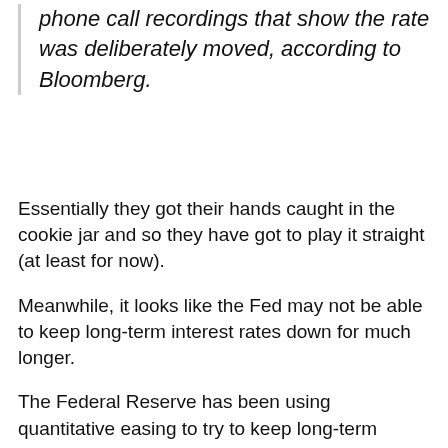phone call recordings that show the rate was deliberately moved, according to Bloomberg.
Essentially they got their hands caught in the cookie jar and so they have got to play it straight (at least for now).
Meanwhile, it looks like the Fed may not be able to keep long-term interest rates down for much longer.
The Federal Reserve has been using quantitative easing to try to keep long-term interest rates low, but now some officials over at the Fed are becoming extremely alarmed about how bloated the Fed balance sheet has